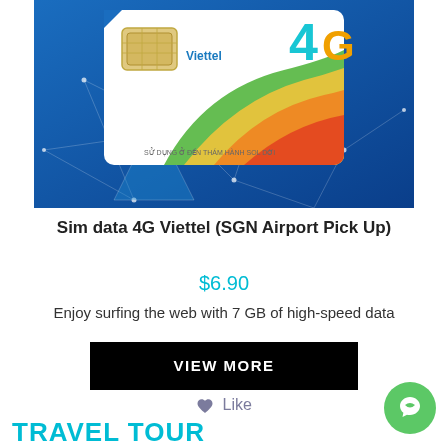[Figure (photo): 4G Viettel SIM card product photo on blue geometric/network pattern background]
Sim data 4G Viettel (SGN Airport Pick Up)
$6.90
Enjoy surfing the web with 7 GB of high-speed data
VIEW MORE
❤ Like
TRAVEL TOUR